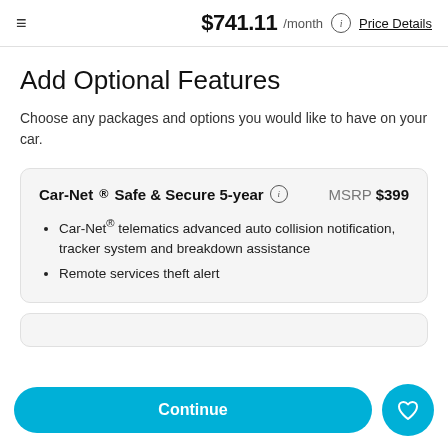$741.11 /month  Price Details
Add Optional Features
Choose any packages and options you would like to have on your car.
Car-Net® Safe & Secure 5-year  MSRP $399
Car-Net® telematics advanced auto collision notification, tracker system and breakdown assistance
Remote services theft alert
Continue